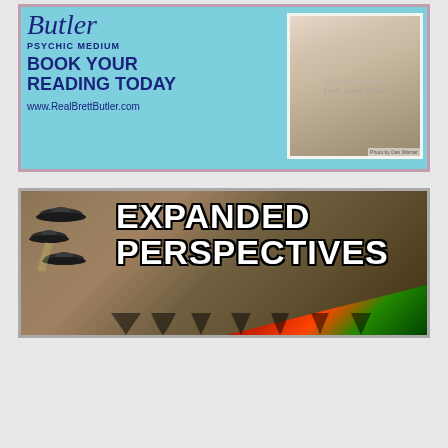[Figure (advertisement): Advertisement for Brett Butler Psychic Medium. Light blue/teal background with text: 'Butler PSYCHIC MEDIUM BOOK YOUR READING TODAY www.RealBrettButler.com' and a portrait photo of a blonde woman. Photo credit: Photo by Dan Warner. Photobucket watermark overlay reads 'host. store. share']
[Figure (advertisement): Advertisement for 'Expanded Perspectives' podcast/show. Dark grunge-style background with UFO silhouettes on the left and large bold white outlined text reading 'EXPANDED PERSPECTIVES'. Red and green tent or pyramid structure visible in lower right.]